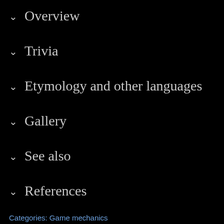✓ Overview
✓ Trivia
✓ Etymology and other languages
✓ Gallery
✓ See also
✓ References
Categories: Game mechanics